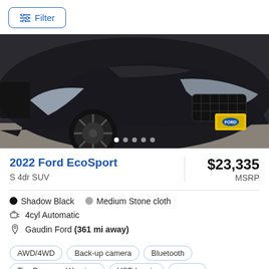Filter
[Figure (photo): Front view of a black 2022 Ford EcoSport SUV parked in a lot, showing the hood, headlights, grille, front wheel, and Ford badge on yellow license plate frame. Image carousel with 5 dots at bottom.]
2022 Ford EcoSport
S 4dr SUV
$23,335
MSRP
Shadow Black   Medium Stone cloth
4cyl Automatic
Gaudin Ford (361 mi away)
AWD/4WD
Back-up camera
Bluetooth
Tire Pressure Warnin...
USB Inputs
+more